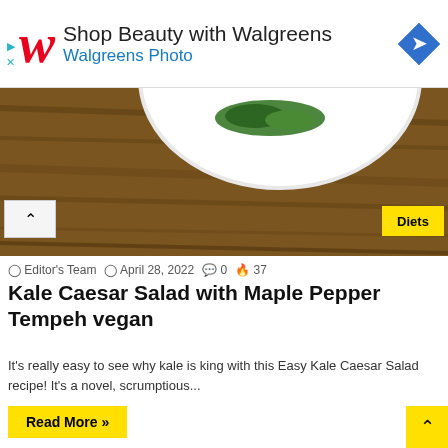[Figure (infographic): Walgreens advertisement banner with red cursive W logo, text 'Shop Beauty with Walgreens' and 'Walgreens Photo', and a blue diamond navigation icon on the right]
[Figure (photo): Food photo showing a white plate with green garnish on a wooden surface, with a yellow 'Diets' badge overlay]
Editor's Team  April 28, 2022  0  37
Kale Caesar Salad with Maple Pepper Tempeh vegan
It's really easy to see why kale is king with this Easy Kale Caesar Salad recipe! It's a novel, scrumptious...
Read More »
[Figure (photo): Photo of a person outdoors among trees]